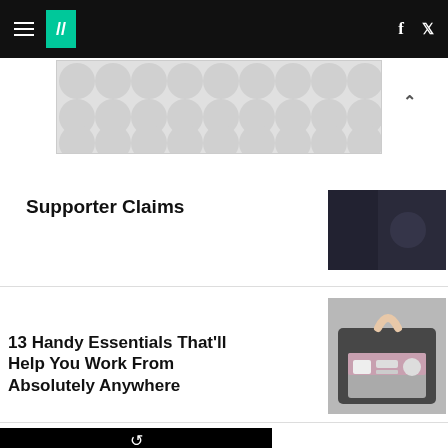HuffPost navigation bar with hamburger menu, logo, Facebook and Twitter icons
[Figure (other): Advertisement banner with grey polka-dot pattern]
Supporter Claims
[Figure (photo): Dark background photo, partial article image]
13 Handy Essentials That'll Help You Work From Absolutely Anywhere
[Figure (photo): Photo of laptop bag being opened, showing organizer with mouse and accessories]
[Figure (screenshot): Black video thumbnail with replay icon at bottom]